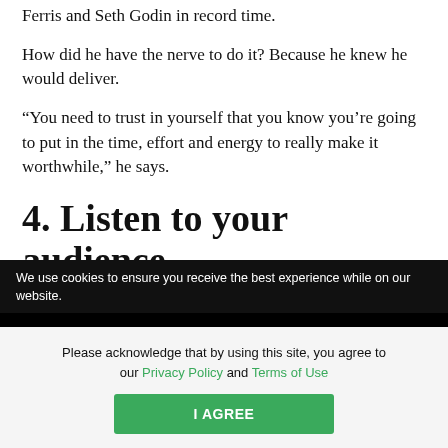Ferris and Seth Godin in record time.
How did he have the nerve to do it? Because he knew he would deliver.
“You need to trust in yourself that you know you’re going to put in the time, effort and energy to really make it worthwhile,” he says.
4. Listen to your audience.
EOFire was not the first podcast on entrepreneurship,
We use cookies to ensure you receive the best experience while on our website.
Please acknowledge that by using this site, you agree to our Privacy Policy and Terms of Use
I AGREE